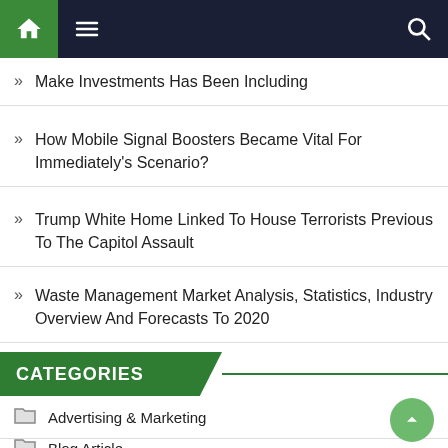Navigation bar with home, menu, and search icons
Make Investments Has Been Including
How Mobile Signal Boosters Became Vital For Immediately's Scenario?
Trump White Home Linked To House Terrorists Previous To The Capitol Assault
Waste Management Market Analysis, Statistics, Industry Overview And Forecasts To 2020
CATEGORIES
Advertising & Marketing
Blog Article